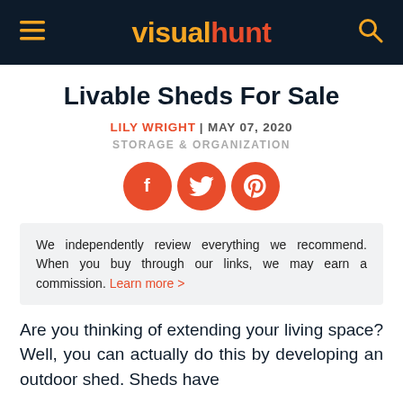visualhunt
Livable Sheds For Sale
LILY WRIGHT | MAY 07, 2020
STORAGE & ORGANIZATION
[Figure (illustration): Three orange circular social media icons: Facebook, Twitter, Pinterest]
We independently review everything we recommend. When you buy through our links, we may earn a commission. Learn more >
Are you thinking of extending your living space? Well, you can actually do this by developing an outdoor shed. Sheds have